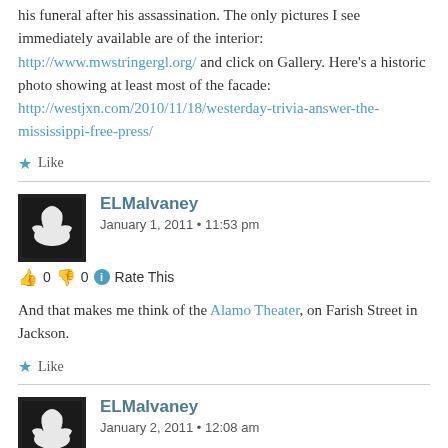The headquarters of Medgar Evers NAACP, and the site of his funeral after his assassination. The only pictures I see immediately available are of the interior: http://www.mwstringergl.org/ and click on Gallery. Here's a historic photo showing at least most of the facade: http://westjxn.com/2010/11/18/westerday-trivia-answer-the-mississippi-free-press/
Like
ELMalvaney
January 1, 2011 • 11:53 pm
👍 0 👎 0 ℹ Rate This
And that makes me think of the Alamo Theater, on Farish Street in Jackson.
Like
ELMalvaney
January 2, 2011 • 12:08 am